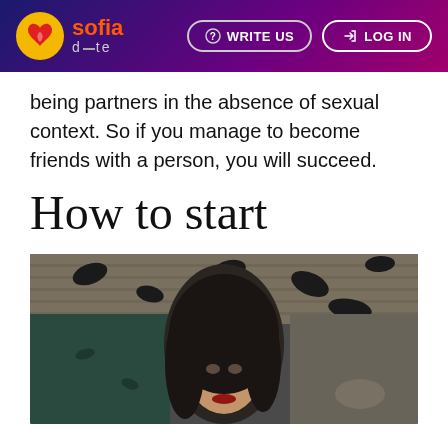sofia date | WRITE US | LOG IN
being partners in the absence of sexual context. So if you manage to become friends with a person, you will succeed.
How to start
[Figure (photo): A dark-haired woman near a pool with wooden deck, black and white toned photo]